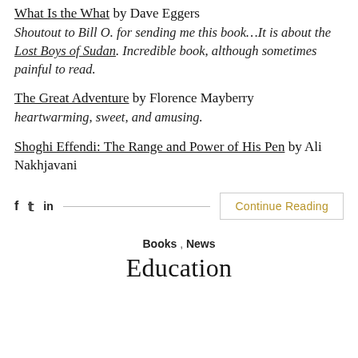What Is the What by Dave Eggers
Shoutout to Bill O. for sending me this book...It is about the Lost Boys of Sudan. Incredible book, although sometimes painful to read.
The Great Adventure by Florence Mayberry
heartwarming, sweet, and amusing.
Shoghi Effendi: The Range and Power of His Pen by Ali Nakhjavani
f  y  in  [social share bar]  Continue Reading
Books , News
Education